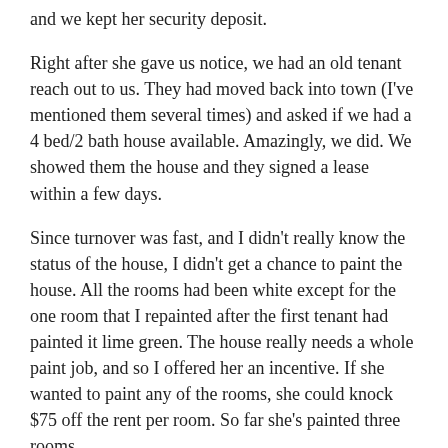and we kept her security deposit.
Right after she gave us notice, we had an old tenant reach out to us. They had moved back into town (I've mentioned them several times) and asked if we had a 4 bed/2 bath house available. Amazingly, we did. We showed them the house and they signed a lease within a few days.
Since turnover was fast, and I didn't really know the status of the house, I didn't get a chance to paint the house. All the rooms had been white except for the one room that I repainted after the first tenant had painted it lime green. The house really needs a whole paint job, and so I offered her an incentive. If she wanted to paint any of the rooms, she could knock $75 off the rent per room. So far she's painted three rooms.